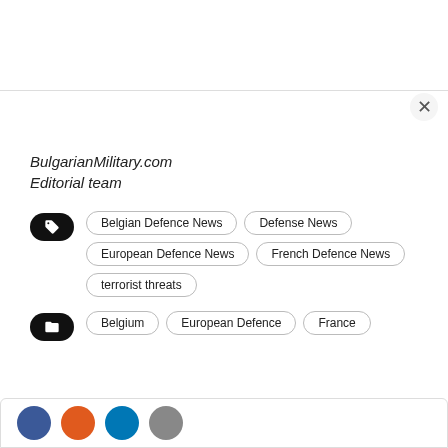BulgarianMilitary.com
Editorial team
Belgian Defence News | Defense News | European Defence News | French Defence News | terrorist threats
Belgium | European Defence | France